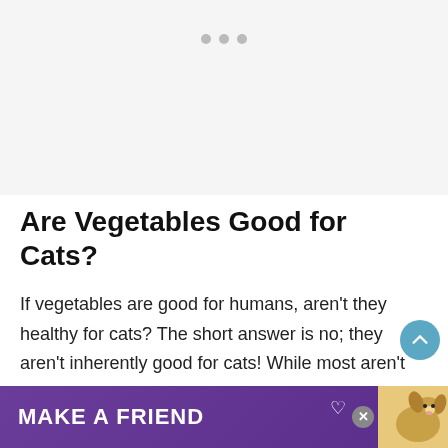[Figure (photo): Light gray placeholder image area with three gray dots (carousel indicators) near the top center.]
Are Vegetables Good for Cats?
If vegetables are good for humans, aren't they healthy for cats? The short answer is no; they aren't inherently good for cats! While most aren't bad for ca... al was
[Figure (infographic): Purple advertisement banner reading 'MAKE A FRIEND' with a dog image and a close button, overlaying the bottom of the page.]